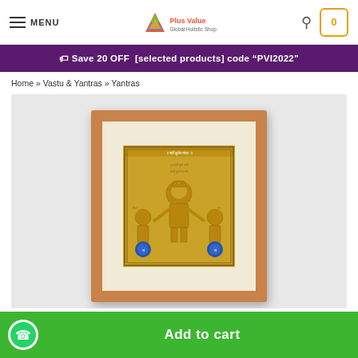MENU | Plus Value logo | Search | Cart (0)
🏷 Save 20 OFF [selected products] code "PVI2022"
Home » Vastu & Yantras » Yantras
[Figure (photo): A framed gold Yantra with Sanskrit inscriptions and deity figures, displayed in a light wooden frame with white mat border.]
Add to cart